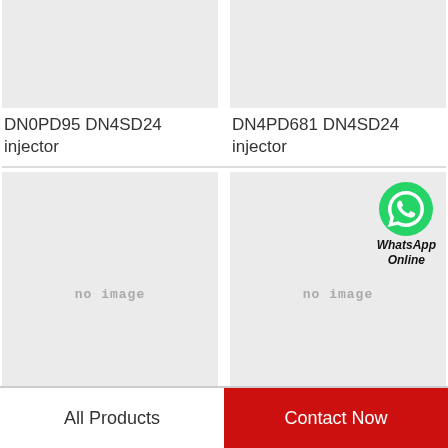[Figure (photo): Product image placeholder (light gray background, top-left product)]
DN0PD95 DN4SD24 injector
[Figure (photo): Product image placeholder (light gray background, top-right product)]
DN4PD681 DN4SD24 injector
[Figure (photo): No image placeholder (light gray background, bottom-left product)]
[Figure (photo): No image placeholder with WhatsApp Online icon (bottom-right product)]
All Products
Contact Now